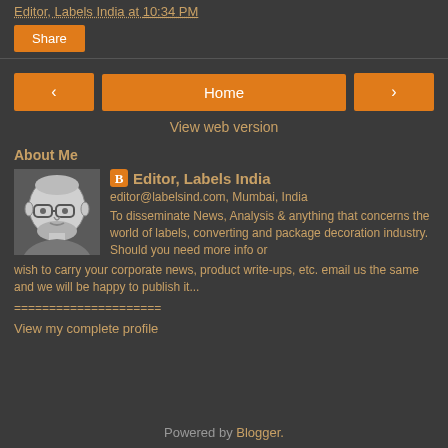Editor, Labels India at 10:34 PM
Share
< Home >
View web version
About Me
[Figure (photo): Black and white illustration/sketch of a man with glasses and beard]
Editor, Labels India
editor@labelsind.com, Mumbai, India
To disseminate News, Analysis & anything that concerns the world of labels, converting and package decoration industry. Should you need more info or wish to carry your corporate news, product write-ups, etc. email us the same and we will be happy to publish it...
=====================
View my complete profile
Powered by Blogger.